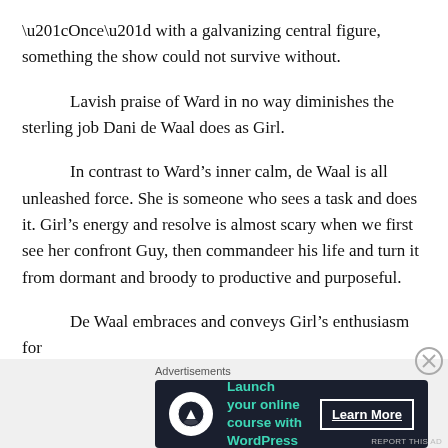“Once” with a galvanizing central figure, something the show could not survive without.
Lavish praise of Ward in no way diminishes the sterling job Dani de Waal does as Girl.
In contrast to Ward’s inner calm, de Waal is all unleashed force. She is someone who sees a task and does it. Girl’s energy and resolve is almost scary when we first see her confront Guy, then commandeer his life and turn it from dormant and broody to productive and purposeful.
De Waal embraces and conveys Girl’s enthusiasm for
[Figure (other): Advertisement banner: Launch your online course with WordPress. Learn More button. Dark navy background with teal text and white button.]